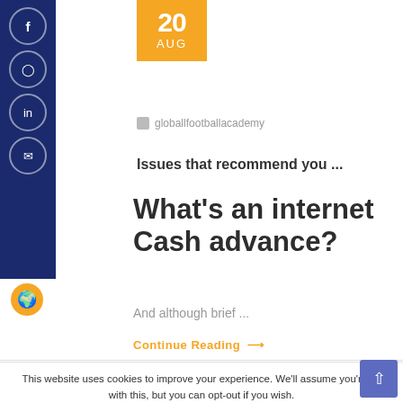[Figure (other): Left sidebar with dark navy background containing circular social media icons (Facebook, Instagram, etc.) and a globe/fire icon below]
[Figure (other): Orange date badge showing '20 AUG']
globallfootballacademy
Issues that recommend you ...
What's an internet Cash advance?
And although brief ...
Continue Reading →
This website uses cookies to improve your experience. We'll assume you're ok with this, but you can opt-out if you wish.
Cookie settings
ACCEPT